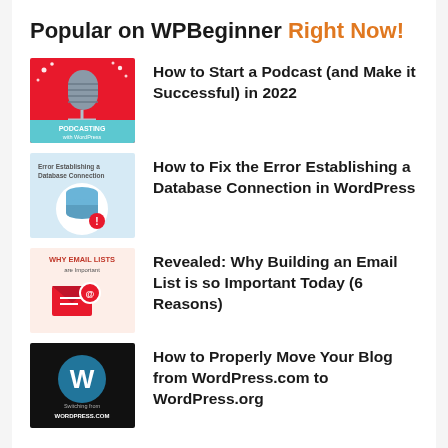Popular on WPBeginner Right Now!
How to Start a Podcast (and Make it Successful) in 2022
How to Fix the Error Establishing a Database Connection in WordPress
Revealed: Why Building an Email List is so Important Today (6 Reasons)
How to Properly Move Your Blog from WordPress.com to WordPress.org